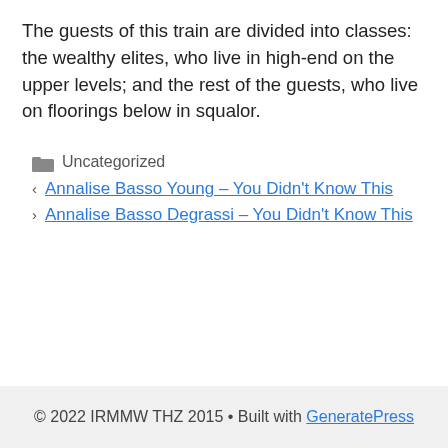The guests of this train are divided into classes: the wealthy elites, who live in high-end on the upper levels; and the rest of the guests, who live on floorings below in squalor.
Uncategorized
Annalise Basso Young – You Didn't Know This
Annalise Basso Degrassi – You Didn't Know This
© 2022 IRMMW THZ 2015 • Built with GeneratePress